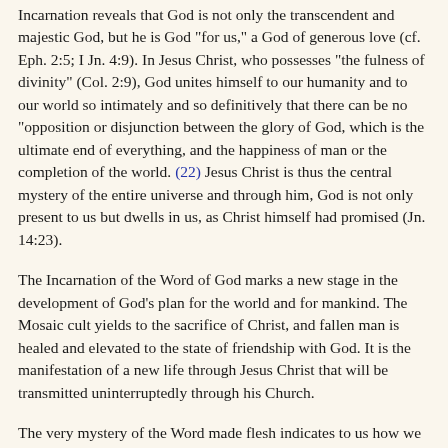Incarnation reveals that God is not only the transcendent and majestic God, but he is God "for us," a God of generous love (cf. Eph. 2:5; I Jn. 4:9). In Jesus Christ, who possesses "the fulness of divinity" (Col. 2:9), God unites himself to our humanity and to our world so intimately and so definitively that there can be no "opposition or disjunction between the glory of God, which is the ultimate end of everything, and the happiness of man or the completion of the world. (22) Jesus Christ is thus the central mystery of the entire universe and through him, God is not only present to us but dwells in us, as Christ himself had promised (Jn. 14:23).
The Incarnation of the Word of God marks a new stage in the development of God's plan for the world and for mankind. The Mosaic cult yields to the sacrifice of Christ, and fallen man is healed and elevated to the state of friendship with God. It is the manifestation of a new life through Jesus Christ that will be transmitted uninterruptedly through his Church.
The very mystery of the Word made flesh indicates to us how we are able to participate in the mystery of Christ. The Word condescended to "humanize"